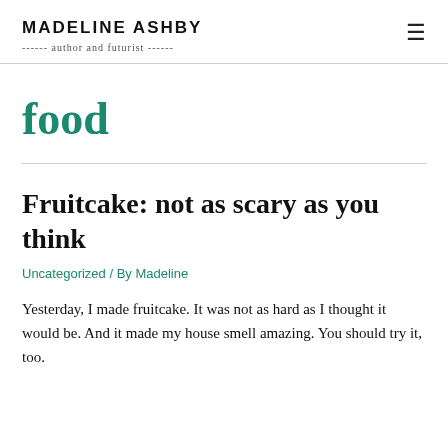MADELINE ASHBY
------ author and futurist ------
food
Fruitcake: not as scary as you think
Uncategorized / By Madeline
Yesterday, I made fruitcake. It was not as hard as I thought it would be. And it made my house smell amazing. You should try it, too.